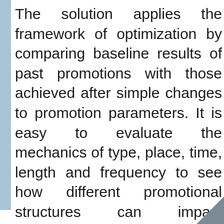The solution applies the framework of optimization by comparing baseline results of past promotions with those achieved after simple changes to promotion parameters. It is easy to evaluate the mechanics of type, place, time, length and frequency to see how different promotional structures can impact performance. Measure the effect of attributes like mechanics, feature and display support, promotion timing and other factors on traction...